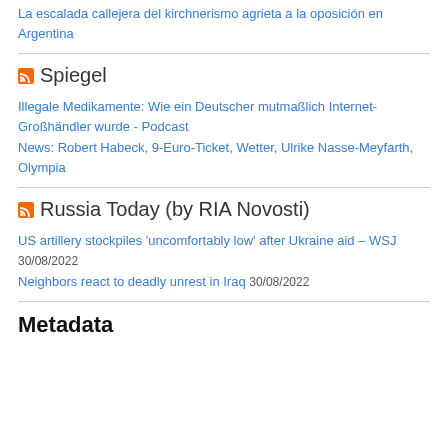La escalada callejera del kirchnerismo agrieta a la oposición en Argentina
Spiegel
Illegale Medikamente: Wie ein Deutscher mutmaßlich Internet-Großhändler wurde - Podcast
News: Robert Habeck, 9-Euro-Ticket, Wetter, Ulrike Nasse-Meyfarth, Olympia
Russia Today (by RIA Novosti)
US artillery stockpiles 'uncomfortably low' after Ukraine aid – WSJ
30/08/2022
Neighbors react to deadly unrest in Iraq 30/08/2022
Metadata